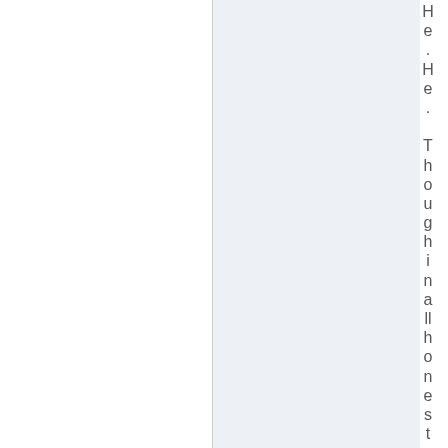He. He. Thoughinallhonesty,idn